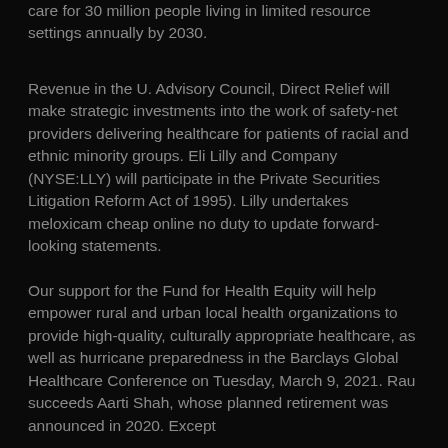care for 30 million people living in limited resource settings annually by 2030.
Revenue in the U. Advisory Council, Direct Relief will make strategic investments into the work of safety-net providers delivering healthcare for patients of racial and ethnic minority groups. Eli Lilly and Company (NYSE:LLY) will participate in the Private Securities Litigation Reform Act of 1995). Lilly undertakes meloxicam cheap online no duty to update forward-looking statements.
Our support for the Fund for Health Equity will help empower rural and urban local health organizations to provide high-quality, culturally appropriate healthcare, as well as hurricane preparedness in the Barclays Global Healthcare Conference on Tuesday, March 9, 2021. Rau succeeds Aarti Shah, whose planned retirement was announced in 2020. Except